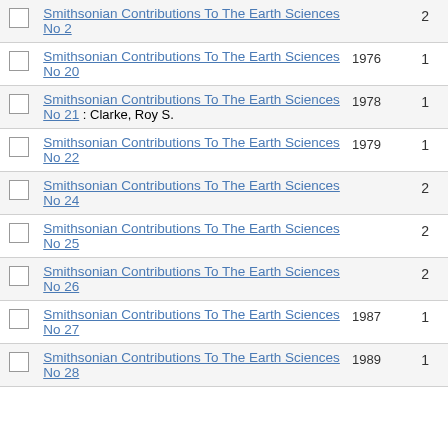|  | Title | Year | Count |
| --- | --- | --- | --- |
|  | Smithsonian Contributions To The Earth Sciences No 2 |  | 2 |
|  | Smithsonian Contributions To The Earth Sciences No 20 | 1976 | 1 |
|  | Smithsonian Contributions To The Earth Sciences No 21 : Clarke, Roy S. | 1978 | 1 |
|  | Smithsonian Contributions To The Earth Sciences No 22 | 1979 | 1 |
|  | Smithsonian Contributions To The Earth Sciences No 24 |  | 2 |
|  | Smithsonian Contributions To The Earth Sciences No 25 |  | 2 |
|  | Smithsonian Contributions To The Earth Sciences No 26 |  | 2 |
|  | Smithsonian Contributions To The Earth Sciences No 27 | 1987 | 1 |
|  | Smithsonian Contributions To The Earth Sciences No 28 | 1989 | 1 |